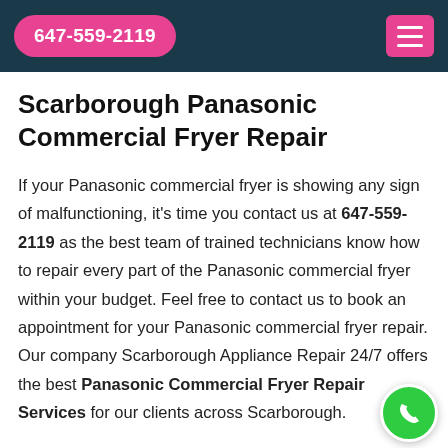647-559-2119
Scarborough Panasonic Commercial Fryer Repair
If your Panasonic commercial fryer is showing any sign of malfunctioning, it's time you contact us at 647-559-2119 as the best team of trained technicians know how to repair every part of the Panasonic commercial fryer within your budget. Feel free to contact us to book an appointment for your Panasonic commercial fryer repair. Our company Scarborough Appliance Repair 24/7 offers the best Panasonic Commercial Fryer Repair Services for our clients across Scarborough.